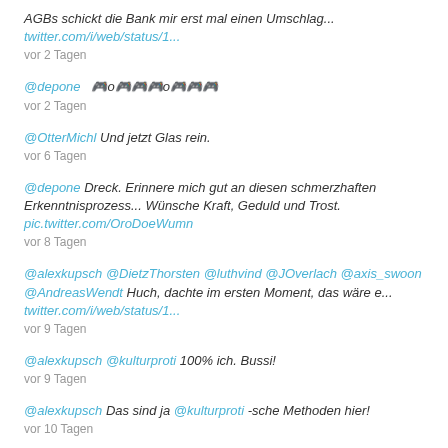AGBs schickt die Bank mir erst mal einen Umschlag... twitter.com/i/web/status/1...
vor 2 Tagen
@depone  🎮o🎮🎮🎮o🎮🎮🎮
vor 2 Tagen
@OtterMichl Und jetzt Glas rein.
vor 6 Tagen
@depone Dreck. Erinnere mich gut an diesen schmerzhaften Erkenntnisprozess... Wünsche Kraft, Geduld und Trost. pic.twitter.com/OroDoeWumn
vor 8 Tagen
@alexkupsch @DietzThorsten @luthvind @JOverlach @axis_swoon @AndreasWendt Huch, dachte im ersten Moment, das wäre e... twitter.com/i/web/status/1...
vor 9 Tagen
@alexkupsch @kulturproti 100% ich. Bussi!
vor 9 Tagen
@alexkupsch Das sind ja @kulturproti -sche Methoden hier!
vor 10 Tagen